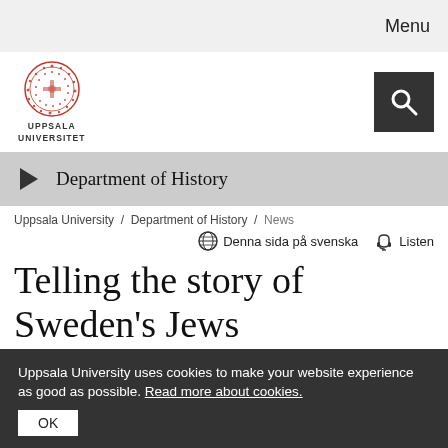Menu
[Figure (logo): Uppsala Universitet logo — circular red seal above text UPPSALA UNIVERSITET]
[Figure (other): Dark grey search button with magnifying glass icon]
Department of History
Uppsala University / Department of History / News
Denna sida på svenska   Listen
Telling the story of Sweden's Jews
Uppsala University uses cookies to make your website experience as good as possible. Read more about cookies.